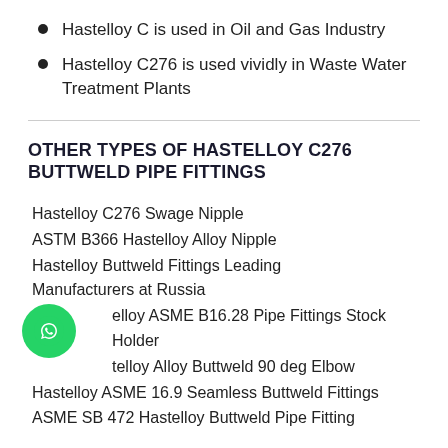Hastelloy C is used in Oil and Gas Industry
Hastelloy C276 is used vividly in Waste Water Treatment Plants
OTHER TYPES OF HASTELLOY C276 BUTTWELD PIPE FITTINGS
Hastelloy C276 Swage Nipple
ASTM B366 Hastelloy Alloy Nipple
Hastelloy Buttweld Fittings Leading Manufacturers at Russia
Hastelloy ASME B16.28 Pipe Fittings Stock Holder
Hastelloy Alloy Buttweld 90 deg Elbow
Hastelloy ASME 16.9 Seamless Buttweld Fittings
ASME SB 472 Hastelloy Buttweld Pipe Fitting